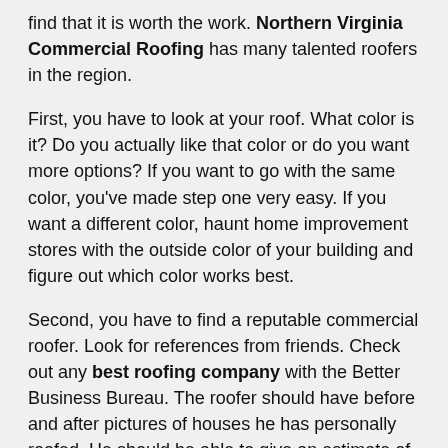find that it is worth the work. Northern Virginia Commercial Roofing has many talented roofers in the region.
First, you have to look at your roof. What color is it? Do you actually like that color or do you want more options? If you want to go with the same color, you've made step one very easy. If you want a different color, haunt home improvement stores with the outside color of your building and figure out which color works best.
Second, you have to find a reputable commercial roofer. Look for references from friends. Check out any best roofing company with the Better Business Bureau. The roofer should have before and after pictures of houses he has personally roofed. He should be able to give an estimate of how much it's going to cost and how long it's going to take.. You'l know when you find the right one for your project.
Third, be prepared for a little hassle. Your in-progress roof should not be exposed to rain. That would lead to more little jars and a time setback on completion of your roof. Warn your employees and customers if it's going to be interfering with daily business – hammering noises or roof tiles tossed in dumpsters. Depending on the